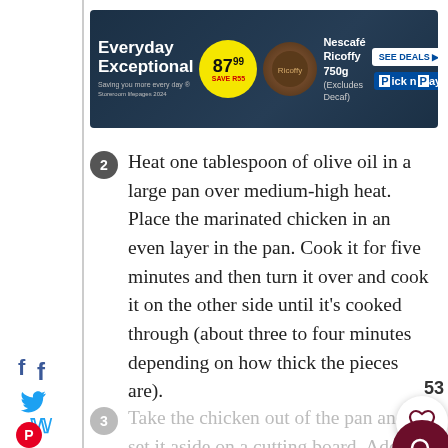[Figure (other): Pick n Pay advertisement banner: Everyday Exceptional, price R87.99, Nescafe Ricoffy 750g (Excludes Decaf), SEE DEALS button, Pick n Pay logo]
2 Heat one tablespoon of olive oil in a large pan over medium-high heat. Place the marinated chicken in an even layer in the pan. Cook it for five minutes and then turn it over and cook it on the other side until it's cooked through (about three to four minutes depending on how thick the pieces are).
3 Take the chicken out of the pan and set it aside on a cutting board. Add the